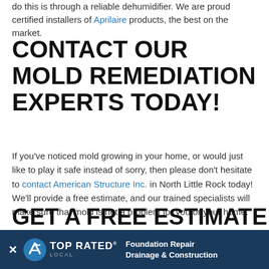do this is through a reliable dehumidifier. We are proud certified installers of Aprilaire products, the best on the market.
CONTACT OUR MOLD REMEDIATION EXPERTS TODAY!
If you've noticed mold growing in your home, or would just like to play it safe instead of sorry, then please don't hesitate to contact American Structure Inc. in North Little Rock today! We'll provide a free estimate, and our trained specialists will make sure that mold is not a problem for you or your home.
GET A FREE ESTIMATE
[Figure (other): Top Rated Local advertisement bar with close button, Top Rated Local logo, and text: Foundation Repair Drainage & Construction]